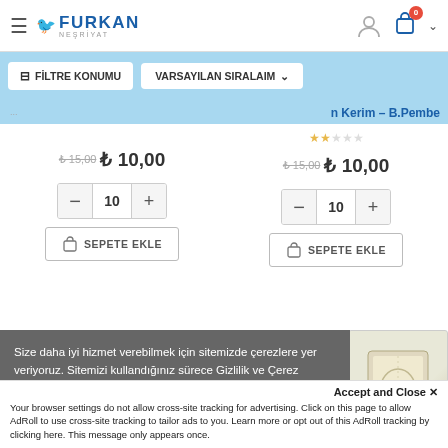[Figure (screenshot): Furkan Neşriyat e-commerce website header with hamburger menu, logo, user icon, and cart icon showing 0 items]
[Figure (screenshot): Filter bar with 'FİLTRE KONUMU' and 'VARSAYILAN SIRALAIM' buttons on blue background]
n Kerim – B.Pembe
₺ 15,00  ₺ 10,00  (left column)
₺ 15,00  ₺ 10,00  (right column)
[Figure (screenshot): Quantity selector showing minus button, 10, plus button - left product]
[Figure (screenshot): Quantity selector showing minus button, 10, plus button - right product]
[Figure (screenshot): SEPETE EKLE (add to cart) button - left product]
[Figure (screenshot): SEPETE EKLE (add to cart) button - right product]
Size daha iyi hizmet verebilmek için sitemizde çerezlere yer veriyoruz. Sitemizi kullandığınız sürece Gizlilik ve Çerez Politikamızı kabul etmektesiniz. Detaylı bilgi için tıklayınız.
Accept and Close ✕
Your browser settings do not allow cross-site tracking for advertising. Click on this page to allow AdRoll to use cross-site tracking to tailor ads to you. Learn more or opt out of this AdRoll tracking by clicking here. This message only appears once.